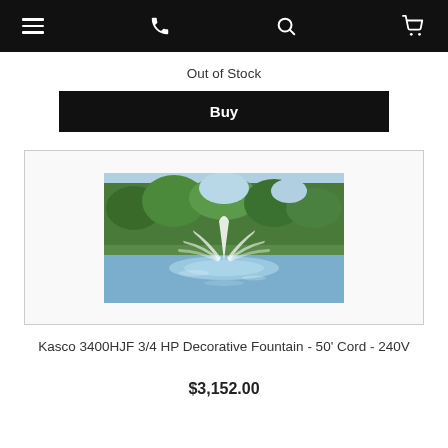Navigation bar with menu, phone, search, and cart icons
Out of Stock
Buy
[Figure (photo): A decorative fountain spraying water in a pond surrounded by trees and greenery, with a clear sky background.]
Kasco 3400HJF 3/4 HP Decorative Fountain - 50' Cord - 240V
$3,152.00